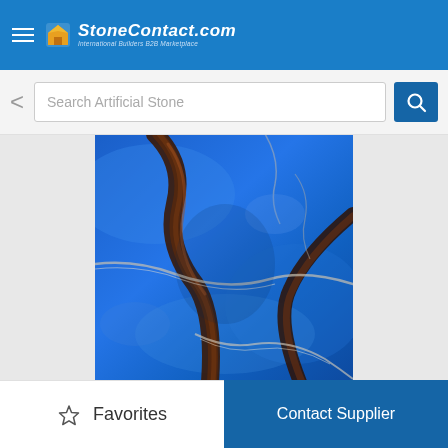StoneContact.com — International Builders B2B Marketplace
Search Artificial Stone
[Figure (photo): Close-up photo of vibrant blue marble stone with brown, black, and white veining patterns]
Favorites
Contact Supplier